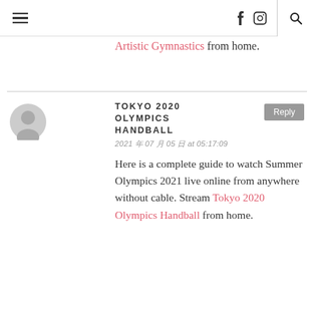Navigation header with hamburger menu, Facebook icon, Instagram icon, and search icon
Artistic Gymnastics from home.
TOKYO 2020 OLYMPICS HANDBALL
2021 年 07 月 05 日 at 05:17:09
Here is a complete guide to watch Summer Olympics 2021 live online from anywhere without cable. Stream Tokyo 2020 Olympics Handball from home.